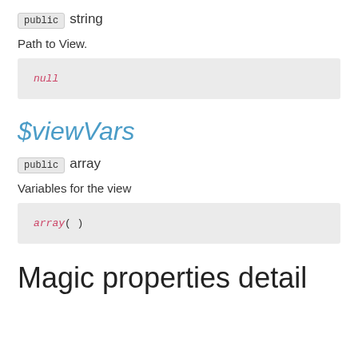public string
Path to View.
null
$viewVars
public array
Variables for the view
array()
Magic properties detail